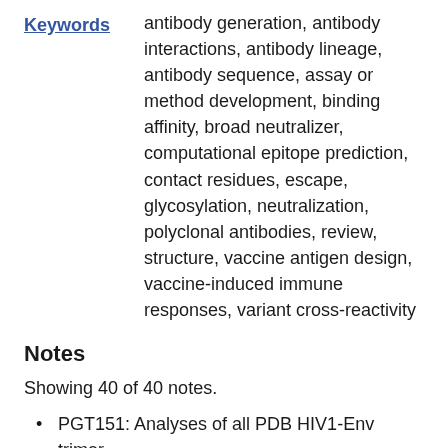Keywords: antibody generation, antibody interactions, antibody lineage, antibody sequence, assay or method development, binding affinity, broad neutralizer, computational epitope prediction, contact residues, escape, glycosylation, neutralization, polyclonal antibodies, review, structure, vaccine antigen design, vaccine-induced immune responses, variant cross-reactivity
Notes
Showing 40 of 40 notes.
PGT151: Analyses of all PDB HIV1-Env trimer (conforming and non-conforming) structures fulfilling certain